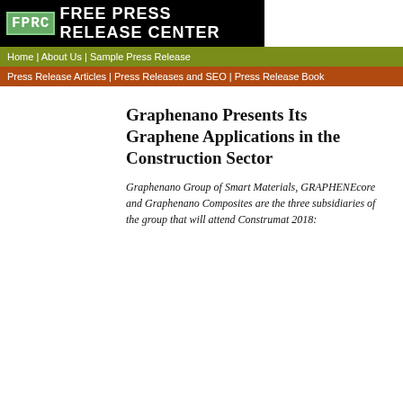FPRC FREE PRESS RELEASE CENTER
Home | About Us | Sample Press Release
Press Release Articles | Press Releases and SEO | Press Release Book
Graphenano Presents Its Graphene Applications in the Construction Sector
Graphenano Group of Smart Materials, GRAPHENEcore and Graphenano Composites are the three subsidiaries of the group that will attend Construmat 2018: